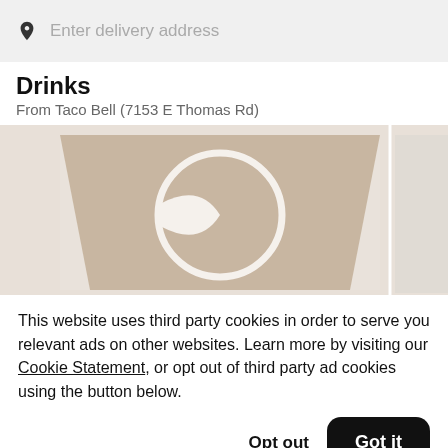Enter delivery address
Drinks
From Taco Bell (7153 E Thomas Rd)
[Figure (photo): Product photo of a Pepsi branded drink cup with frosted appearance]
This website uses third party cookies in order to serve you relevant ads on other websites. Learn more by visiting our Cookie Statement, or opt out of third party ad cookies using the button below.
Opt out
Got it